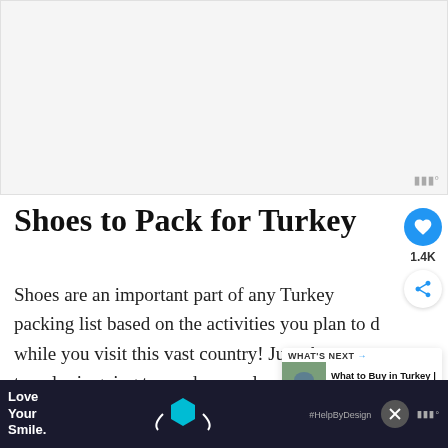[Figure (photo): Large image placeholder at top of article, light gray background]
Shoes to Pack for Turkey
Shoes are an important part of any Turkey packing list based on the activities you plan to do while you visit this vast country! Just about every traveler is going to need a couple pairs of shoes. Here is what I suggest in your packing list for T...
[Figure (infographic): What's Next widget showing thumbnail of Turkey cityscape with text 'What to Buy in Turkey | The...']
[Figure (advertisement): Banner ad at bottom: Love Your Smile dental ad with blue hexagon graphic and #HelpByDesign hashtag]